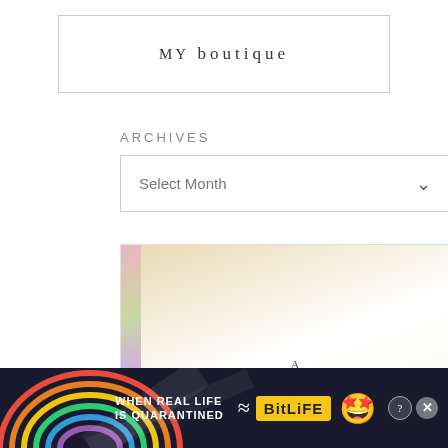[Figure (other): Boutique shop logo box with border and text 'MY boutique' in spaced serif typography]
ARCHIVES
[Figure (other): Dropdown select widget labeled 'Select Month' with a chevron arrow]
[Figure (other): Book cover image showing colorful spine strip on left, white center with italic text 'A thoughtful' in large serif font]
[Figure (other): Advertisement banner: 'WHEN REAL LIFE IS QUARANTINED' with BitLife app branding, mascot emoji, help and close buttons]